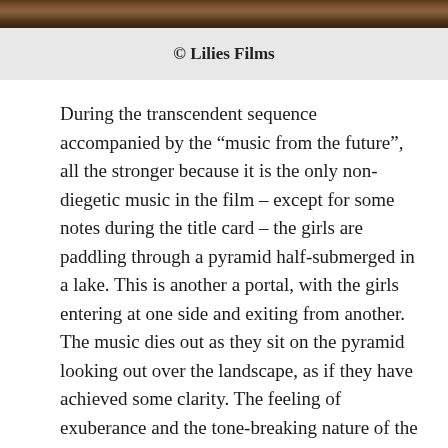[Figure (photo): Partial view of a dark film still or photograph strip at the top of the page]
© Lilies Films
During the transcendent sequence accompanied by the “music from the future”, all the stronger because it is the only non-diegetic music in the film – except for some notes during the title card – the girls are paddling through a pyramid half-submerged in a lake. This is another a portal, with the girls entering at one side and exiting from another. The music dies out as they sit on the pyramid looking out over the landscape, as if they have achieved some clarity. The feeling of exuberance and the tone-breaking nature of the interlude, with a sudden everything-is-possible atmosphere, is a Sciamma speciality, as witnessed by the Rihanna dance scene in Girlhood (2014) and the communal singing at the bonfire in Portrait of a